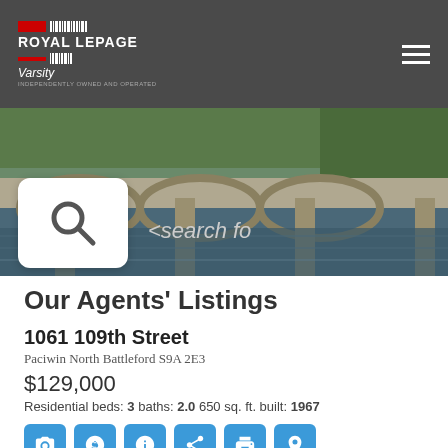Royal LePage Varsity
[Figure (photo): Bridge over a river with trees and water reflections, hero banner image]
Our Agents' Listings
1061 109th Street
Paciwin North Battleford S9A 2E3
$129,000
Residential beds: 3 baths: 2.0 650 sq. ft. built: 1967